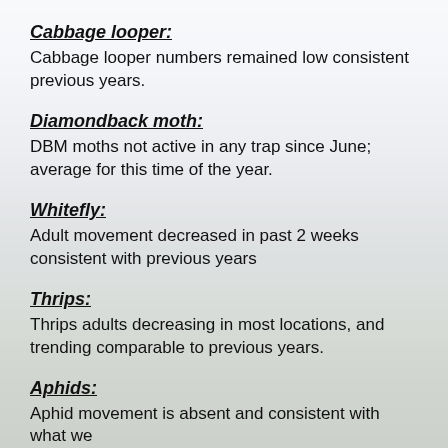Cabbage looper:
Cabbage looper numbers remained low consistent previous years.
Diamondback moth:
DBM moths not active in any trap since June; average for this time of the year.
Whitefly:
Adult movement decreased in past 2 weeks consistent with previous years
Thrips:
Thrips adults decreasing in most locations, and trending comparable to previous years.
Aphids:
Aphid movement is absent and consistent with what we